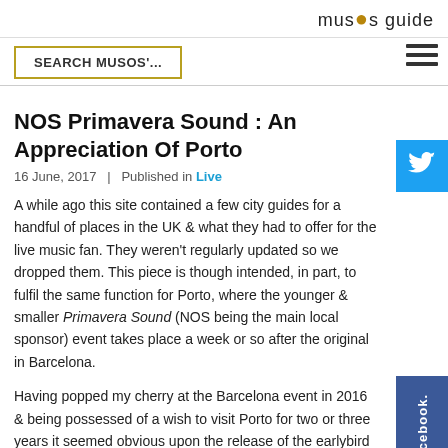musos guide
NOS Primavera Sound : An Appreciation Of Porto
16 June, 2017  |  Published in Live
A while ago this site contained a few city guides for a handful of places in the UK & what they had to offer for the live music fan. They weren't regularly updated so we dropped them. This piece is though intended, in part, to fulfil the same function for Porto, where the younger & smaller Primavera Sound (NOS being the main local sponsor) event takes place a week or so after the original in Barcelona.
Having popped my cherry at the Barcelona event in 2016 & being possessed of a wish to visit Porto for two or three years it seemed obvious upon the release of the earlybird tickets for 2017 that one be...